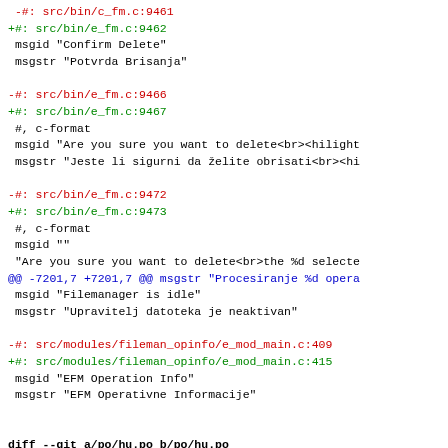diff output showing git changes to po files including e_fm.c line references and translation strings